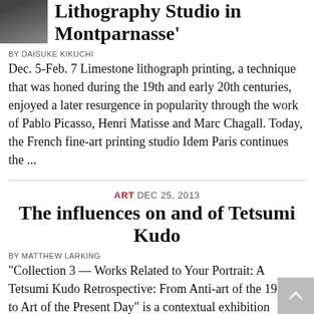[Figure (photo): Small black and white thumbnail portrait photo in upper left]
Lithography Studio in Montparnasse'
BY DAISUKE KIKUCHI
Dec. 5-Feb. 7 Limestone lithograph printing, a technique that was honed during the 19th and early 20th centuries, enjoyed a later resurgence in popularity through the work of Pablo Picasso, Henri Matisse and Marc Chagall. Today, the French fine-art printing studio Idem Paris continues the ...
ART DEC 25, 2013
The influences on and of Tetsumi Kudo
BY MATTHEW LARKING
"Collection 3 — Works Related to Your Portrait: A Tetsumi Kudo Retrospective: From Anti-art of the 1960s to Art of the Present Day" is a contextual exhibition accompanying the superb "Tetsumi Kudo